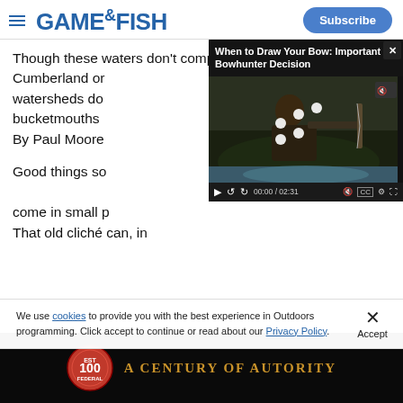GAME&FISH | Subscribe
Though these waters don't compare to Lake Barkley, Cumberland or watersheds do bucketmouths. By Paul Moore
[Figure (screenshot): Video player overlay showing 'When to Draw Your Bow: Important Bowhunter Decision' with a bowhunter in camouflage drawing a bow. Video controls show 00:00 / 02:31.]
Good things so come in small p That old cliché can, in
We use cookies to provide you with the best experience in Outdoors programming. Click accept to continue or read about our Privacy Policy.
Advertisement
[Figure (logo): Federal ammunition advertisement: circular badge with '100' and 'FEDERAL' text, tagline 'A CENTURY OF AUTHORITY' in gold text on black background.]